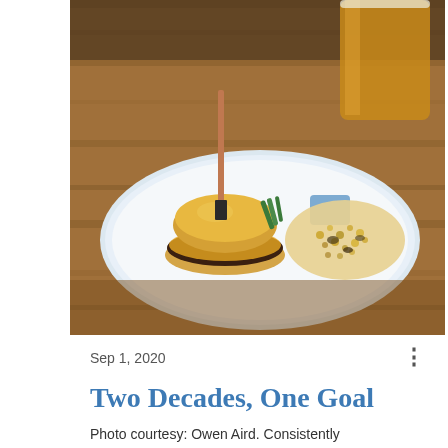[Figure (photo): A cheeseburger with a knife stuck in the bun on a white plate with a side of corn and grain dish and green beans, with a glass of beer in the background, on a wooden table.]
Sep 1, 2020
Two Decades, One Goal
Photo courtesy: Owen Aird. Consistently